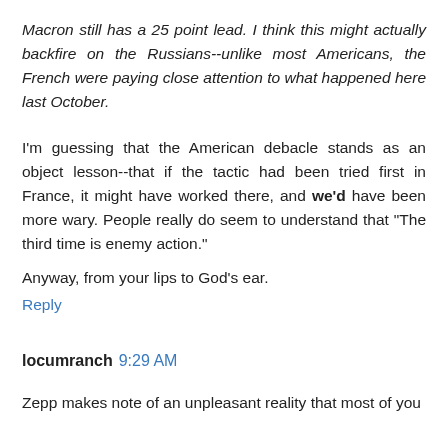Macron still has a 25 point lead. I think this might actually backfire on the Russians--unlike most Americans, the French were paying close attention to what happened here last October.
I'm guessing that the American debacle stands as an object lesson--that if the tactic had been tried first in France, it might have worked there, and we'd have been more wary. People really do seem to understand that "The third time is enemy action."
Anyway, from your lips to God's ear.
Reply
locumranch 9:29 AM
Zepp makes note of an unpleasant reality that most of you